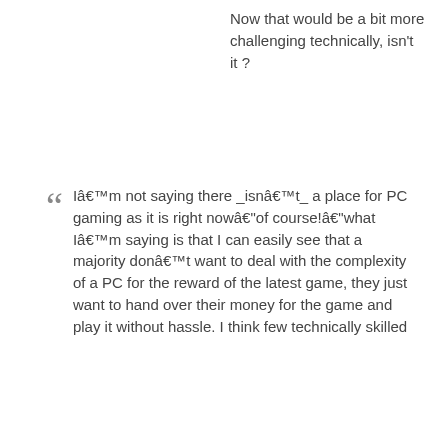Now that would be a bit more challenging technically, isn't it ?
Iâm not saying there _isnât_ a place for PC gaming as it is right nowâof course!âwhat Iâm saying is that I can easily see that a majority donât want to deal with the complexity of a PC for the reward of the latest game, they just want to hand over their money for the game and play it without hassle. I think few technically skilled